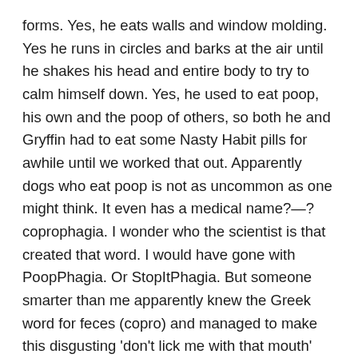forms. Yes, he eats walls and window molding. Yes he runs in circles and barks at the air until he shakes his head and entire body to try to calm himself down. Yes, he used to eat poop, his own and the poop of others, so both he and Gryffin had to eat some Nasty Habit pills for awhile until we worked that out. Apparently dogs who eat poop is not as uncommon as one might think. It even has a medical name?—? coprophagia. I wonder who the scientist is that created that word. I would have gone with PoopPhagia. Or StopItPhagia. But someone smarter than me apparently knew the Greek word for feces (copro) and managed to make this disgusting 'don't lick me with that mouth' habit sound fancy.
The world expert came in and evaluated Nicky. She nodded, she watched, she asked a million questions, which I happily answered, because lord knows I needed to tell someone all of the chaos that my dog has done. She made some helpful